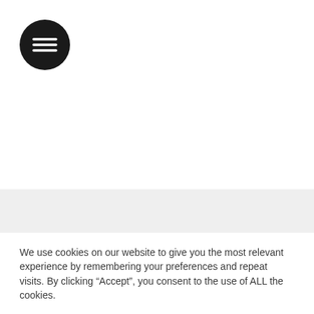[Figure (logo): Black circular menu button with three horizontal white lines (hamburger icon)]
We use cookies on our website to give you the most relevant experience by remembering your preferences and repeat visits. By clicking “Accept”, you consent to the use of ALL the cookies.
RÉGLAGES DES PARAMÈTRES
ACCEPTER